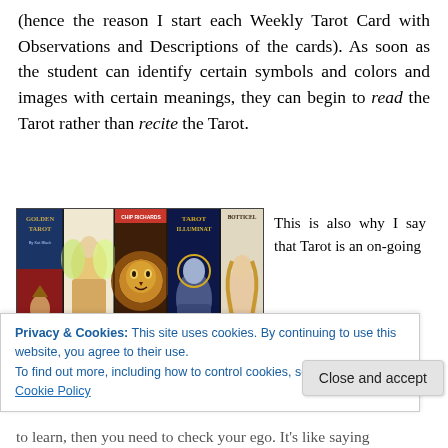(hence the reason I start each Weekly Tarot Card with Observations and Descriptions of the cards). As soon as the student can identify certain symbols and colors and images with certain meanings, they can begin to read the Tarot rather than recite the Tarot.
[Figure (photo): A collection of tarot card deck covers displayed side by side including Golden Tarot, Mystic Faerie Tarot, Free Language Animals, Tarot Illuminati, and Botticelli Tarot]
This is also why I say that Tarot is an on- going
Privacy & Cookies: This site uses cookies. By continuing to use this website, you agree to their use.
To find out more, including how to control cookies, see here:
Cookie Policy
to learn, then you need to check your ego. It's like saying